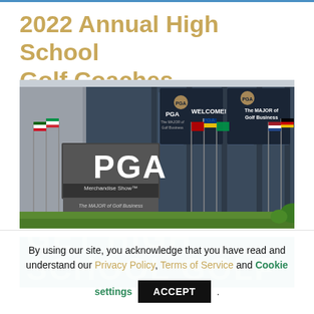2022 Annual High School Golf Coaches Conference
[Figure (photo): Exterior photo of PGA Merchandise Show building with large PGA sign reading 'Merchandise Show - The MAJOR of Golf Business', flags from various countries, and dark glass facade with banners reading 'WELCOME! PGA' and 'The MAJOR of Golf Business']
[Figure (infographic): Dark teal/green banner with large partially visible white text reading 'GET HIGH SCHOOL GOLF']
By using our site, you acknowledge that you have read and understand our Privacy Policy, Terms of Service and Cookie settings ACCEPT .